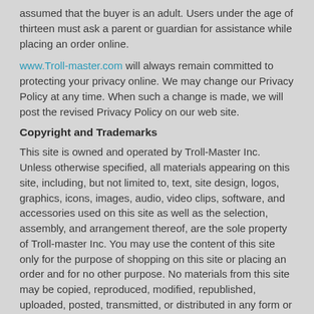assumed that the buyer is an adult. Users under the age of thirteen must ask a parent or guardian for assistance while placing an order online.
www.Troll-master.com will always remain committed to protecting your privacy online. We may change our Privacy Policy at any time. When such a change is made, we will post the revised Privacy Policy on our web site.
Copyright and Trademarks
This site is owned and operated by Troll-Master Inc. Unless otherwise specified, all materials appearing on this site, including, but not limited to, text, site design, logos, graphics, icons, images, audio, video clips, software, and accessories used on this site as well as the selection, assembly, and arrangement thereof, are the sole property of Troll-master Inc. You may use the content of this site only for the purpose of shopping on this site or placing an order and for no other purpose. No materials from this site may be copied, reproduced, modified, republished, uploaded, posted, transmitted, or distributed in any form or by any means without prior written permission from Troll-master Inc. All rights not expressly granted herein are reserved. Any unauthorized